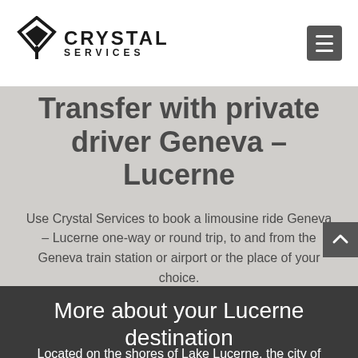[Figure (logo): Crystal Services logo with diamond/arrow icon and text CRYSTAL SERVICES]
Transfer with private driver Geneva – Lucerne
Use Crystal Services to book a limousine ride Geneva – Lucerne one-way or round trip, to and from the Geneva train station or airport or the place of your choice.
More about your Lucerne destination
Located on the shores of Lake Lucerne, the city of